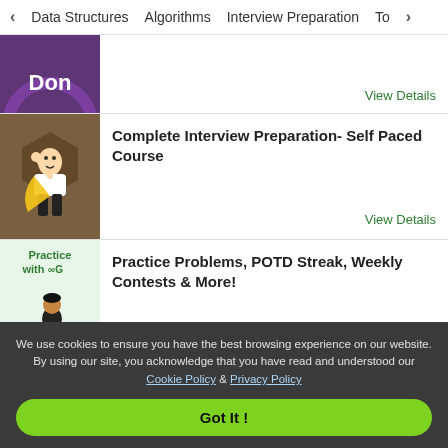< Data Structures   Algorithms   Interview Preparation   To>
[Figure (illustration): Partially visible purple circular badge with text 'Don' at the top]
View Details
[Figure (illustration): Cartoon character of a person in superhero cape raising fist, brown/tan background]
Complete Interview Preparation- Self Paced Course
View Details
[Figure (illustration): Light green background with 'Practice with GFG logo' text and person sitting at desk illustration]
Practice Problems, POTD Streak, Weekly Contests & More!
View Details
We use cookies to ensure you have the best browsing experience on our website. By using our site, you acknowledge that you have read and understood our Cookie Policy & Privacy Policy
Got It !